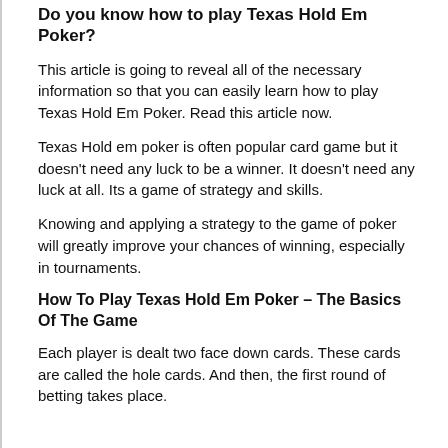Do you know how to play Texas Hold Em Poker?
This article is going to reveal all of the necessary information so that you can easily learn how to play Texas Hold Em Poker. Read this article now.
Texas Hold em poker is often popular card game but it doesn't need any luck to be a winner. It doesn't need any luck at all. Its a game of strategy and skills.
Knowing and applying a strategy to the game of poker will greatly improve your chances of winning, especially in tournaments.
How To Play Texas Hold Em Poker – The Basics Of The Game
Each player is dealt two face down cards. These cards are called the hole cards. And then, the first round of betting takes place.